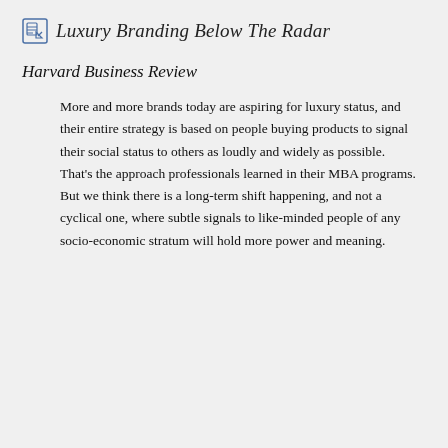Luxury Branding Below The Radar
Harvard Business Review
More and more brands today are aspiring for luxury status, and their entire strategy is based on people buying products to signal their social status to others as loudly and widely as possible. That’s the approach professionals learned in their MBA programs. But we think there is a long-term shift happening, and not a cyclical one, where subtle signals to like-minded people of any socio-economic stratum will hold more power and meaning.